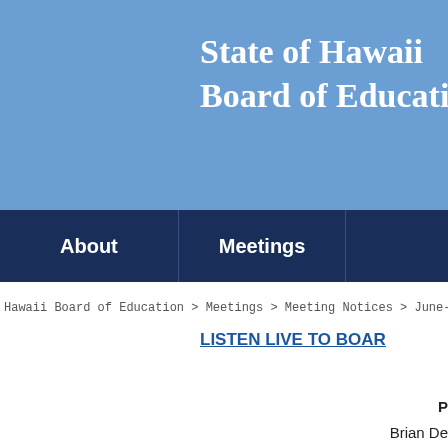State of Hawaii Board of Education
About | Meetings
Hawaii Board of Education > Meetings > Meeting Notices > June-20,-2017-Finance-and-...
LISTEN LIVE TO BOAR...
P...
Brian De...